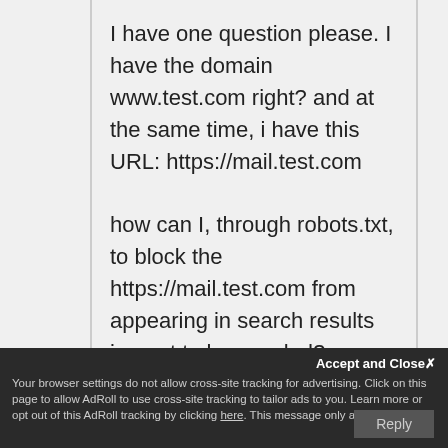I have one question please. I have the domain www.test.com right? and at the same time, i have this URL: https://mail.test.com

how can I, through robots.txt, to block the https://mail.test.com from appearing in search results i.e. not to be crawled?



thanks in advance
Accept and Close
Your browser settings do not allow cross-site tracking for advertising. Click on this page to allow AdRoll to use cross-site tracking to tailor ads to you. Learn more or opt out of this AdRoll tracking by clicking here. This message only appears once.